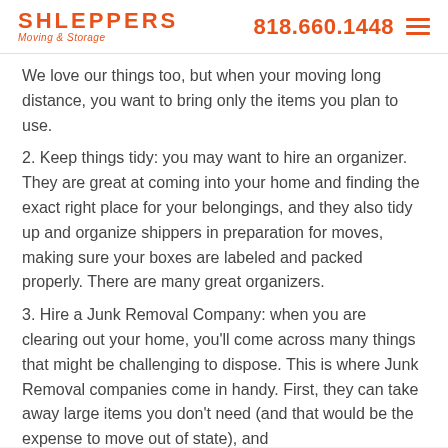SHLEPPERS Moving & Storage | 818.660.1448
We love our things too, but when your moving long distance, you want to bring only the items you plan to use.
2. Keep things tidy: you may want to hire an organizer. They are great at coming into your home and finding the exact right place for your belongings, and they also tidy up and organize shippers in preparation for moves, making sure your boxes are labeled and packed properly. There are many great organizers.
3. Hire a Junk Removal Company: when you are clearing out your home, you'll come across many things that might be challenging to dispose. This is where Junk Removal companies come in handy. First, they can take away large items you don't need (and that would be the expense to move out of state), and